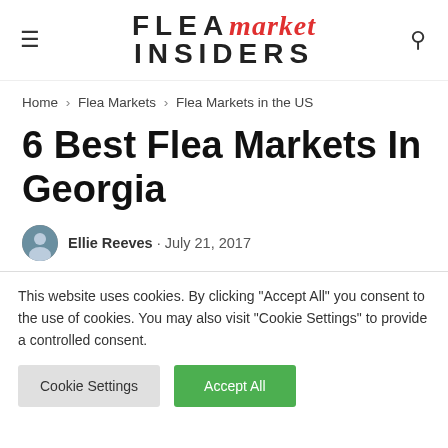FLEA market INSIDERS
Home > Flea Markets > Flea Markets in the US
6 Best Flea Markets In Georgia
Ellie Reeves · July 21, 2017
This website uses cookies. By clicking "Accept All" you consent to the use of cookies. You may also visit "Cookie Settings" to provide a controlled consent.